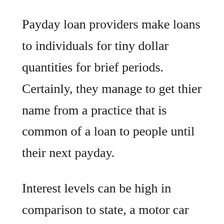Payday loan providers make loans to individuals for tiny dollar quantities for brief periods. Certainly, they manage to get thier name from a practice that is common of a loan to people until their next payday.
Interest levels can be high in comparison to state, a motor car finance. Interest levels on brand new car and truck loans are in the area of 1.5 to 3.0 % and lending that is payday cover anything from 150 to more than 500 per